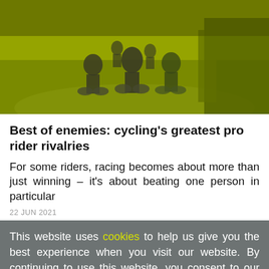[Figure (photo): Cyclists riding on a path, photo with yellow-green color filter, showing multiple riders from behind/side view]
Best of enemies: cycling's greatest pro rider rivalries
For some riders, racing becomes about more than just winning – it's about beating one person in particular
22 JUN 2021
This website uses cookies to help us give you the best experience when you visit our website. By continuing to use this website, you consent to our use of these cookies.